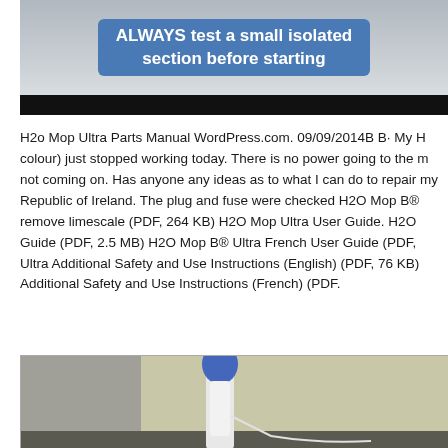[Figure (photo): Screenshot of a video with blue rounded rectangle banner text reading 'ALWAYS test a small isolated section before starting' on a gray/beige background, with a black bar below]
H2o Mop Ultra Parts Manual WordPress.com. 09/09/2014B B· My H colour) just stopped working today. There is no power going to the m not coming on. Has anyone any ideas as to what I can do to repair my Republic of Ireland. The plug and fuse were checked H2O Mop B® remove limescale (PDF, 264 KB) H2O Mop Ultra User Guide. H2O Guide (PDF, 2.5 MB) H2O Mop B® Ultra French User Guide (PDF, Ultra Additional Safety and Use Instructions (English) (PDF, 76 KB) Additional Safety and Use Instructions (French) (PDF.
[Figure (photo): Photo of an H2O Mop Ultra steam mop standing upright, white body with blue top section, against a light yellow-green wall with gray fabric visible on the left]